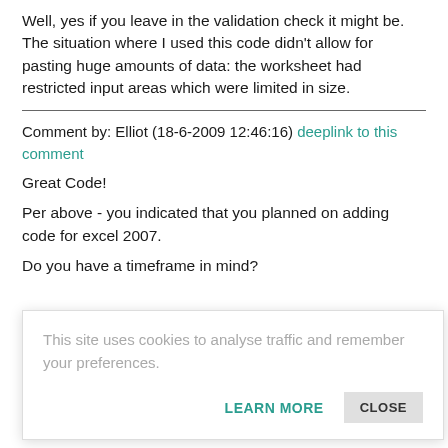Well, yes if you leave in the validation check it might be. The situation where I used this code didn't allow for pasting huge amounts of data: the worksheet had restricted input areas which were limited in size.
Comment by: Elliot (18-6-2009 12:46:16) deeplink to this comment
Great Code!
Per above - you indicated that you planned on adding code for excel 2007.
Do you have a timeframe in mind?
This site uses cookies to analyse traffic and remember your preferences.
LEARN MORE   CLOSE
Comment by: Jan Karel Pieterse (21-6-2009 03:08:44) deeplink to this comment